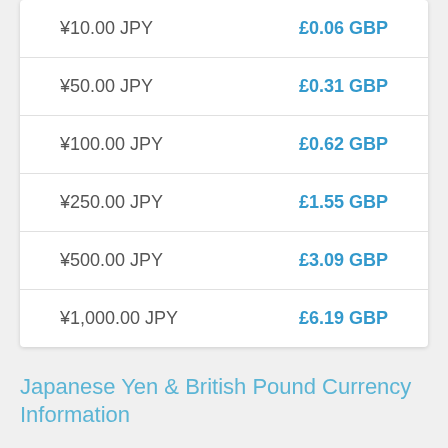| JPY | GBP |
| --- | --- |
| ¥10.00 JPY | £0.06 GBP |
| ¥50.00 JPY | £0.31 GBP |
| ¥100.00 JPY | £0.62 GBP |
| ¥250.00 JPY | £1.55 GBP |
| ¥500.00 JPY | £3.09 GBP |
| ¥1,000.00 JPY | £6.19 GBP |
Japanese Yen & British Pound Currency Information